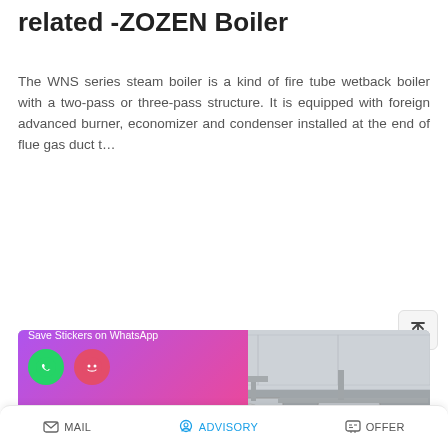related -ZOZEN Boiler
The WNS series steam boiler is a kind of fire tube wetback boiler with a two-pass or three-pass structure. It is equipped with foreign advanced burner, economizer and condenser installed at the end of flue gas duct t…
READ MORE
[Figure (photo): Industrial boiler room with multiple vertical cylindrical steam boilers and piping, installed in a white-walled facility. A WhatsApp sticker-saving overlay with phone and emoji icons appears in the lower-left corner of the image.]
MAIL   ADVISORY   OFFER